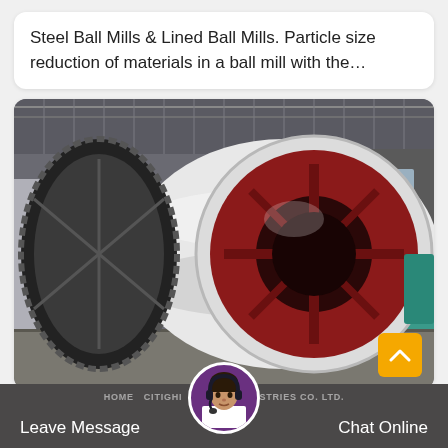Steel Ball Mills & Lined Ball Mills. Particle size reduction of materials in a ball mill with the...
[Figure (photo): A large industrial steel ball mill with a white cylindrical drum body, a dark gear ring on the left side, and a red circular end cap/trunnion opening facing the viewer, photographed in a factory/industrial setting.]
HOME CITIGHI HEAVY INDUSTRIES CO. LTD.   Leave Message   Chat Online